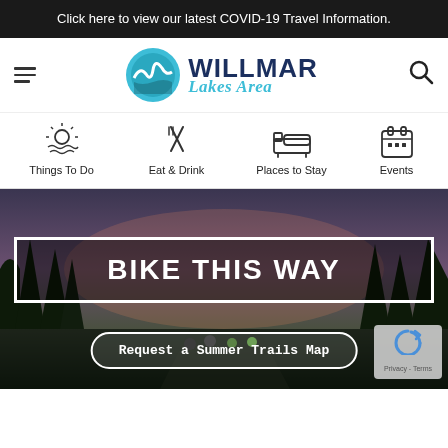Click here to view our latest COVID-19 Travel Information.
[Figure (logo): Willmar Lakes Area logo with teal circular icon and text]
Things To Do
Eat & Drink
Places to Stay
Events
[Figure (photo): Cyclists biking on a trail at dusk with trees silhouetted in background]
BIKE THIS WAY
Request a Summer Trails Map